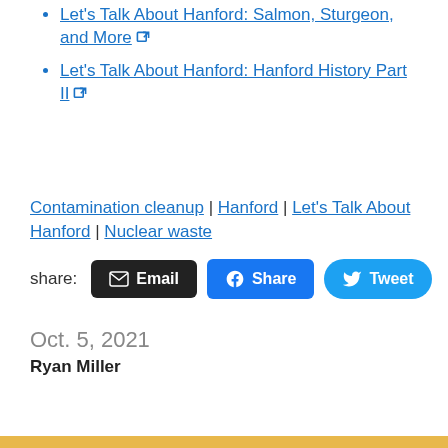Let's Talk About Hanford: Salmon, Sturgeon, and More [external link]
Let's Talk About Hanford: Hanford History Part II [external link]
Contamination cleanup | Hanford | Let's Talk About Hanford | Nuclear waste
share: [Email] [Share] [Tweet]
Oct. 5, 2021
Ryan Miller